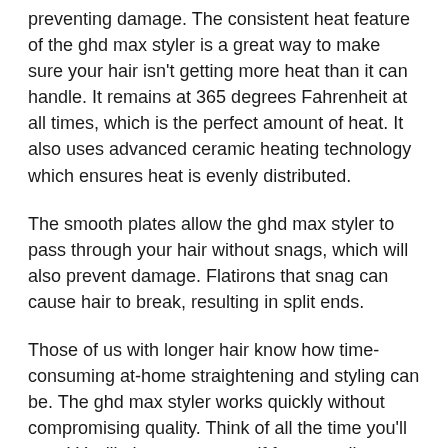preventing damage. The consistent heat feature of the ghd max styler is a great way to make sure your hair isn't getting more heat than it can handle. It remains at 365 degrees Fahrenheit at all times, which is the perfect amount of heat. It also uses advanced ceramic heating technology which ensures heat is evenly distributed.
The smooth plates allow the ghd max styler to pass through your hair without snags, which will also prevent damage. Flatirons that snag can cause hair to break, resulting in split ends.
Those of us with longer hair know how time-consuming at-home straightening and styling can be. The ghd max styler works quickly without compromising quality. Think of all the time you'll save! You'll also save yourself from needing a whole host of styling tools. The ghd max styler can crimp, curl, straighten, and make waves.